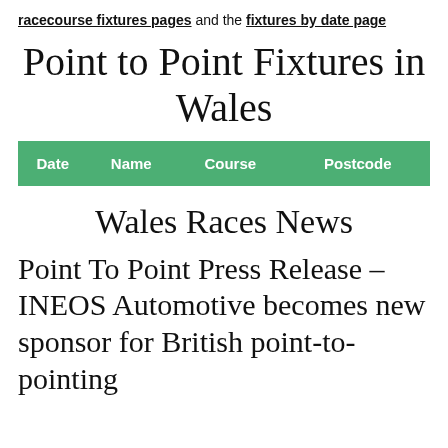racecourse fixtures pages and the fixtures by date page
Point to Point Fixtures in Wales
| Date | Name | Course | Postcode |
| --- | --- | --- | --- |
Wales Races News
Point To Point Press Release – INEOS Automotive becomes new sponsor for British point-to-pointing